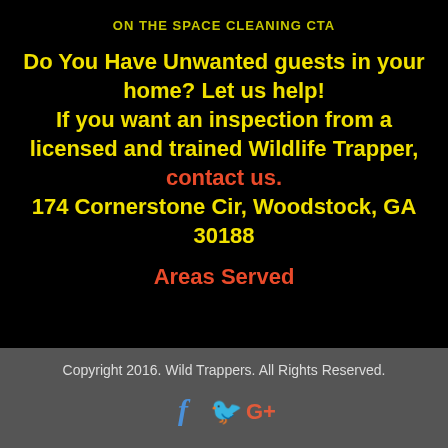ON THE SPACE CLEANING CTA
Do You Have Unwanted guests in your home? Let us help!
If you want an inspection from a licensed and trained Wildlife Trapper, contact us.
174 Cornerstone Cir, Woodstock, GA 30188
Areas Served
Copyright 2016. Wild Trappers. All Rights Reserved.